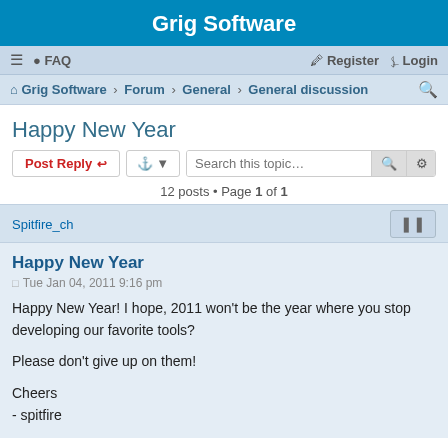Grig Software
≡  FAQ    Register   Login
Grig Software › Forum › General › General discussion
Happy New Year
Post Reply  [tools]  Search this topic…
12 posts • Page 1 of 1
Spitfire_ch
Happy New Year
Tue Jan 04, 2011 9:16 pm
Happy New Year! I hope, 2011 won't be the year where you stop developing our favorite tools?

Please don't give up on them!

Cheers
- spitfire